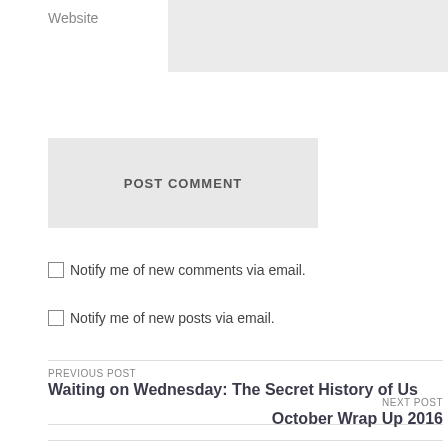Website
POST COMMENT
Notify me of new comments via email.
Notify me of new posts via email.
PREVIOUS POST
Waiting on Wednesday: The Secret History of Us
NEXT POST
October Wrap Up 2016